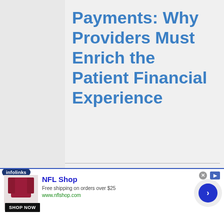Payments: Why Providers Must Enrich the Patient Financial Experience
[Figure (other): Advertisement banner: NFL Shop - Free shipping on orders over $25, www.nflshop.com, with SHOP NOW button and product image of red jersey]